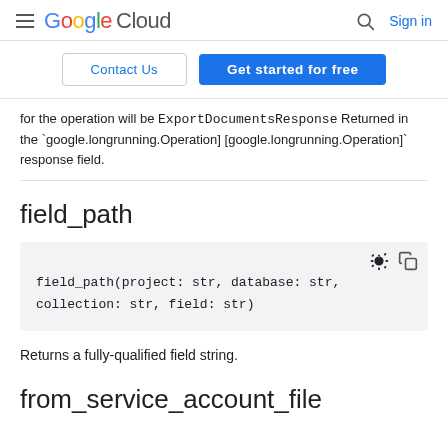Google Cloud  Sign in
Contact Us  Get started for free
for the operation will be ExportDocumentsResponse Returned in the `google.longrunning.Operation] [google.longrunning.Operation]` response field.
field_path
field_path(project: str, database: str, collection: str, field: str)
Returns a fully-qualified field string.
from_service_account_file